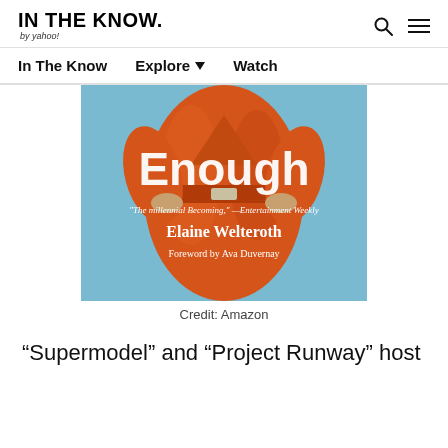IN THE KNOW. by yahoo!
[Figure (photo): Book cover of 'Enough' by Elaine Welteroth. A woman in an orange shiny trench coat with hands on hips against a light blue background. Text reads: 'The millennial Becoming,' —Entertainment Weekly, Elaine Welteroth, Foreword by Ava Duvernay]
Credit: Amazon
“Supermodel” and “Project Runway” host